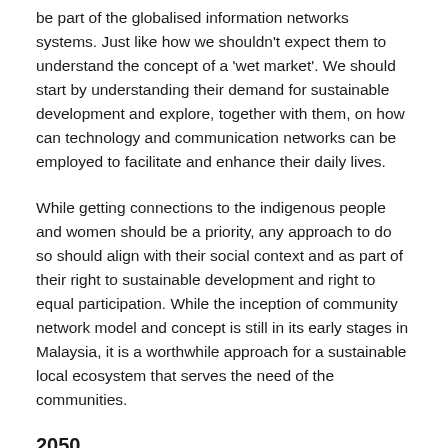be part of the globalised information networks systems. Just like how we shouldn't expect them to understand the concept of a 'wet market'. We should start by understanding their demand for sustainable development and explore, together with them, on how can technology and communication networks can be employed to facilitate and enhance their daily lives.
While getting connections to the indigenous people and women should be a priority, any approach to do so should align with their social context and as part of their right to sustainable development and right to equal participation. While the inception of community network model and concept is still in its early stages in Malaysia, it is a worthwhile approach for a sustainable local ecosystem that serves the need of the communities.
2050